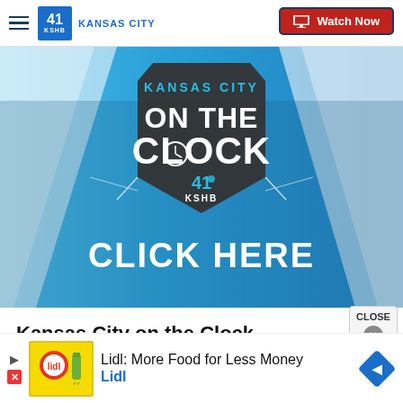41 KSHB KANSAS CITY — Watch Now
[Figure (screenshot): KSHB 41 Kansas City 'On the Clock' promotional banner with blue background, badge logo, and 'CLICK HERE' text]
Kansas City on the Clock
CLOSE ×
Lidl: More Food for Less Money — Lidl